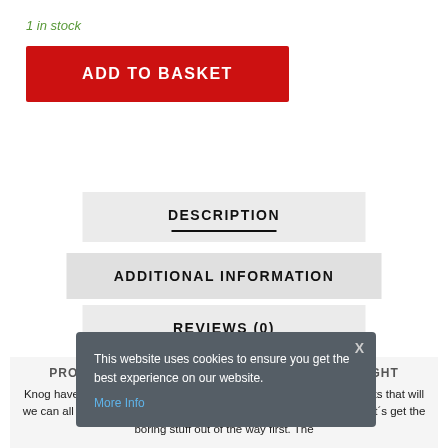1 in stock
ADD TO BASKET
DESCRIPTION
ADDITIONAL INFORMATION
REVIEWS (0)
PRODUCT DESCRIPTION KNOG POP II FRONT LIGHT
Knog have ripped up the rule book yet again with a new range of lights that will we can all love and hate. with a choice of ten – yes ten – patterns. Let´s get the boring stuff out of the way first. The
This website uses cookies to ensure you get the best experience on our website.
More Info